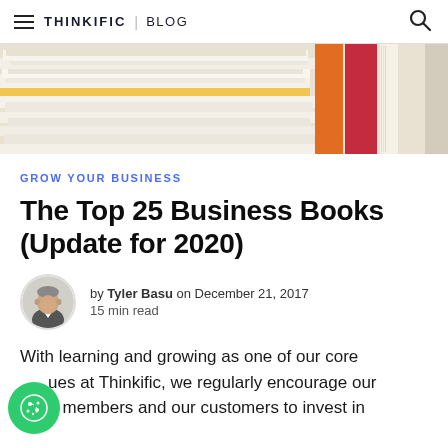THINKIFIC | BLOG
[Figure (photo): Stack of colorful books photographed from the side, with book spines visible on the right]
GROW YOUR BUSINESS
The Top 25 Business Books (Update for 2020)
by Tyler Basu on December 21, 2017
15 min read
With learning and growing as one of our core values at Thinkific, we regularly encourage our team members and our customers to invest in